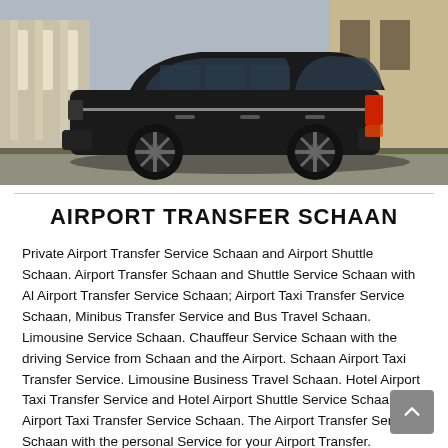[Figure (photo): Black Mercedes-Benz V-Class minivan photographed from the side, parked in front of a classical building with stone columns. The vehicle is black with sporty alloy wheels.]
AIRPORT TRANSFER SCHAAN
Private Airport Transfer Service Schaan and Airport Shuttle Schaan. Airport Transfer Schaan and Shuttle Service Schaan with Al Airport Transfer Service Schaan; Airport Taxi Transfer Service Schaan, Minibus Transfer Service and Bus Travel Schaan. Limousine Service Schaan. Chauffeur Service Schaan with the driving Service from Schaan and the Airport. Schaan Airport Taxi Transfer Service. Limousine Business Travel Schaan. Hotel Airport Taxi Transfer Service and Hotel Airport Shuttle Service Schaan. Airport Taxi Transfer Service Schaan. The Airport Transfer Service Schaan with the personal Service for your Airport Transfer.